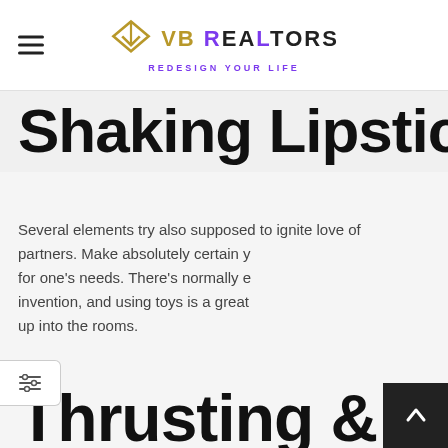VB Realtors — Redesign Your Life
Shaking Lipstick
Several elements try also supposed to ignite love of partners. Make absolutely certain y for one's needs. There's normally e invention, and using toys is a great up into the rooms.
Thrusting & Vibrating Remote-con Plastic Cont
Enquiry Now
Your Name *
Name
Your Email *
Email
Your Phone Nu
Phone Number
Your Sub